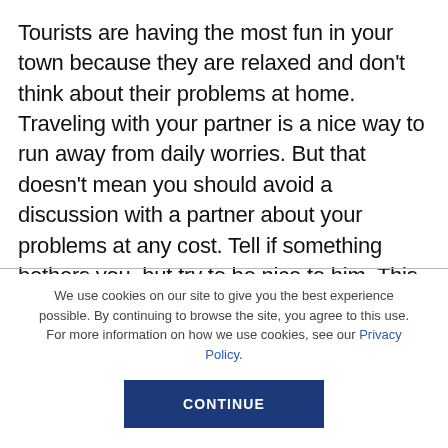Tourists are having the most fun in your town because they are relaxed and don't think about their problems at home. Traveling with your partner is a nice way to run away from daily worries. But that doesn't mean you should avoid a discussion with a partner about your problems at any cost. Tell if something bothers you, but try to be nice to him. This tip shouldn't be used only when you two travel together, but always.
We use cookies on our site to give you the best experience possible. By continuing to browse the site, you agree to this use. For more information on how we use cookies, see our Privacy Policy. CONTINUE